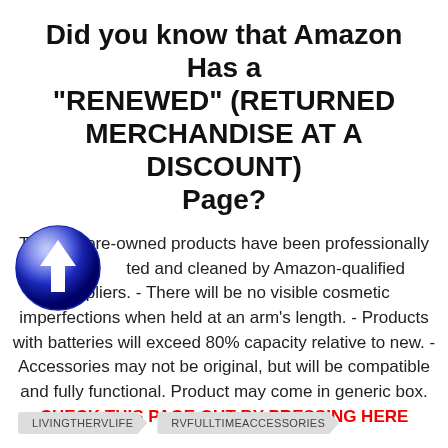Did you know that Amazon Has a "RENEWED" (RETURNED MERCHANDISE AT A DISCOUNT) Page?
[Figure (illustration): Blue circular icon with white upward arrow in the center, overlapping the body text]
These pre-owned products have been professionally inspected and cleaned by Amazon-qualified suppliers. - There will be no visible cosmetic imperfections when held at an arm's length. - Products with batteries will exceed 80% capacity relative to new. - Accessories may not be original, but will be compatible and fully functional. Product may come in generic box. CHECK THIS PAGE OUT BY PRESSING HERE
LIVINGTHERVLIFE
RVFULLTIMEACCESSORIES